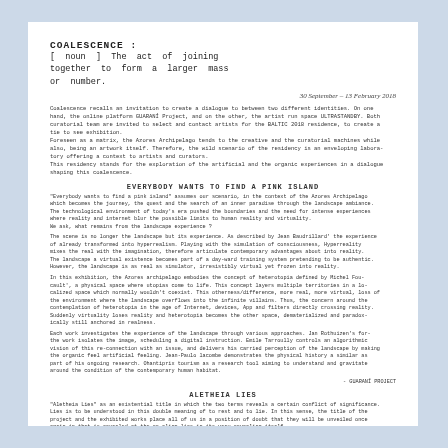COALESCENCE : [ noun ] The act of joining together to form a larger mass or number.
30 September - 13 February 2018
Coalescence recalls an invitation to create a dialogue to between two different identities. On one hand, the online platform GUARANÍ Project, and on the other, the artist run space ULTRASTANDBY. Both curatorial team are invited to select and contact artists for the BALTIC 2018 residence, to create a tie to see exhibition. Foreseen as a matrix, the Azores Archipelago tends to the creative and the curatorial machines while also, being an artwork itself. Therefore, the wild scenario of the residency is an enveloping laboratory offering a context to artists and curators. This residency stands for the exploration of the artificial and the organic experiences in a dialogue shaping this coalescence.
EVERYBODY WANTS TO FIND A PINK ISLAND
"Everybody wants to find a pink island" assumes our scenario, in the context of the Azores Archipelago which becomes the journey, the quest and the search of an inner paradise through the landscape ambiance. The technological environment of today's era pushed the boundaries and the need for intense experiences where reality and internet blur the possible limits to human reality and virtuality. We ask, what remains from the landscape experience ?
The scene is no longer the landscape but its experience, as described by Jean Baudrillard' the experience of already transformed into hyperrealism. Playing with the simulation of consciousness, Hyperreality mixes the real with the imagination, therefore articulate contemporary advantages about into reality. The landscape a virtual existence becomes part of a day-ward training system pretending to be authentic. However, the landscape is as real as simulator, irresistibly virtual yet frozen into reality.
In this exhibition, the Azores archipelago embodies the concept of heterotopia defined by Michel Foucault', a physical space where utopias come to life. This concept layers multiple territories in a localized space which normally wouldn't coexist. This otherness/difference, more real, more virtual, loss of the environment where the landscape overflows into the infinite villains. Thus, the concern around the contemplation of heterotopia in the age of Internet, devices, App and filters directly crossing reality. Suddenly virtuality loses reality and heterotopia becomes the other space, dematerialized and paradoxically still anchored in realness.
Each work investigates the experience of the landscape through various approaches. Jan Rothuizen's for the work isolates the image, scheduling a digital instruction. Emile Tarroully controls an algorithmic vision of this re-connection with an issue, and delivers his carried perception of the landscape by making the organic feel artificial feeling. Jean-Paulo lacombe demonstrates the physical history a similar as part of his ongoing research. Ohantiprix tourism as a research tool aiming to understand and gravitate around the condition of the contemporary human habitat.
- GUARANÍ PROJECT
ALETHEIA LIES
"Aletheia Lies" as an existential title in which the two terms reveals a certain conflict of significance. Lies is to be understood in this double meaning of to rest and to lie. In this sense, the title of the project and the exhibited works place all of us in a position of doubt that they will be unveiled once again in that is revealed at the re-align lies in its very revealing itself.
The artists are invited to reflect on the theme of Truth, as a revelation by Martin Heidegger. And so of aletheia, reveal. Truth manifests itself in its disclosure to the gaze of the most attentive observer. The artworks made for the residence in the Azores Archipelago. Flourish in the items of the Garden. More than pallets than blanks. Together they say from the idea of a self represented place in the painting to the Flemish master Hieronimus Bosch 'The Garden of Earthly Delights' (1460 - 1480).
Artists were therefore asked to focus their attention on the visual references of the triptych in which Bosch claims a symbolic garden where human beings are represented in their carnality, restoring the idea of freedom with liberation. Dreams that reveal themselves and images that could in a shared seen in which scene to Social Van Donalder, 1776 de Napolitane and Large Lacey meet set to same Boundaries. Everything is in scene, everything seems to be developing and pulsating with life.